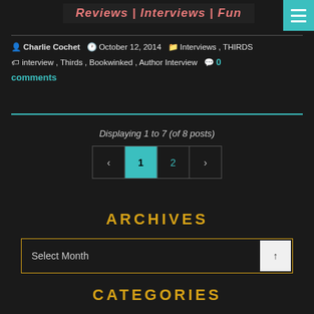Reviews | Interviews | Fun
Charlie Cochet  October 12, 2014  Interviews , THIRDS  interview , Thirds , Bookwinked , Author Interview  0 comments
Displaying 1 to 7 (of 8 posts)
< 1 2 >
ARCHIVES
Select Month
CATEGORIES